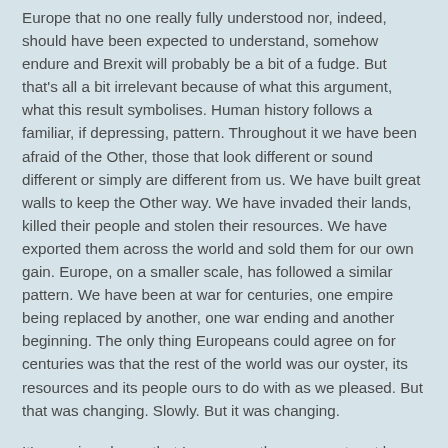Europe that no one really fully understood nor, indeed, should have been expected to understand, somehow endure and Brexit will probably be a bit of a fudge. But that's all a bit irrelevant because of what this argument, what this result symbolises. Human history follows a familiar, if depressing, pattern. Throughout it we have been afraid of the Other, those that look different or sound different or simply are different from us. We have built great walls to keep the Other way. We have invaded their lands, killed their people and stolen their resources. We have exported them across the world and sold them for our own gain. Europe, on a smaller scale, has followed a similar pattern. We have been at war for centuries, one empire being replaced by another, one war ending and another beginning. The only thing Europeans could agree on for centuries was that the rest of the world was our oyster, its resources and its people ours to do with as we pleased. But that was changing. Slowly. But it was changing.
It's a crying shame that Leave won the argument, not by actually winning any arguments but by framing the discussion in terms that never truly mattered. That was